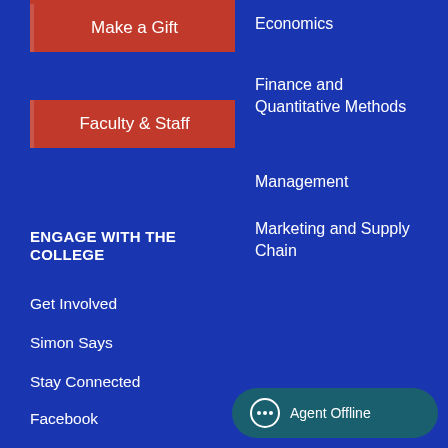Make a Gift
Faculty & Staff
Economics
Finance and Quantitative Methods
Management
Marketing and Supply Chain
ENGAGE WITH THE COLLEGE
Get Involved
Simon Says
Stay Connected
Facebook
Agent Offline